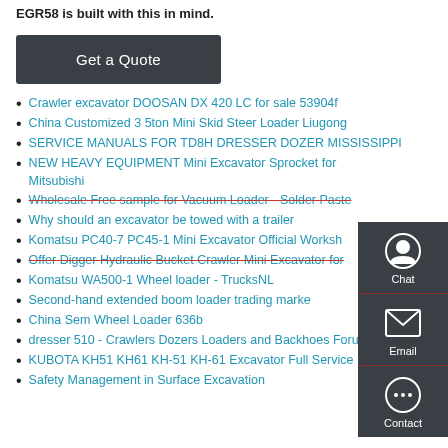EGR58 is built with this in mind.
[Figure (other): Dark gray 'Get a Quote' button]
Crawler excavator DOOSAN DX 420 LC for sale 53904f
China Customized 3 5ton Mini Skid Steer Loader Liugong
SERVICE MANUALS FOR TD8H DRESSER DOZER MISSISSIPPI
NEW HEAVY EQUIPMENT Mini Excavator Sprocket for Mitsubishi
Wholesale Free sample for Vacuum Loader - Solder Paste
Why should an excavator be towed with a trailer
Komatsu PC40-7 PC45-1 Mini Excavator Official Workshop
Offer Digger Hydraulic Bucket Crawler Mini Excavator for
Komatsu WA500-1 Wheel loader - TrucksNL
Second-hand extended boom loader trading market
China Sem Wheel Loader 636b
dresser 510 - Crawlers Dozers Loaders and Backhoes Forum
KUBOTA KH51 KH61 KH-51 KH-61 Excavator Full Service Manual
Safety Management in Surface Excavation